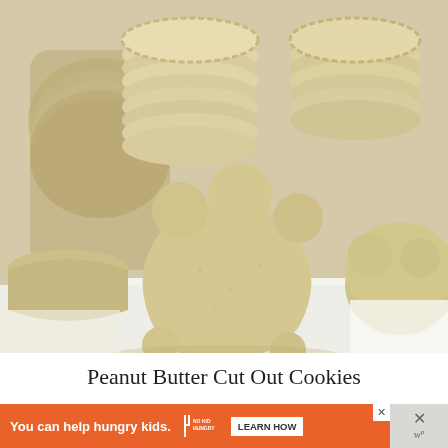[Figure (photo): Close-up photo of peanut butter cut-out cookies in various shapes stacked and arranged on a white surface. The cookies are golden-tan colored with scalloped edges, some stacked in tall piles showing their layered profile.]
Peanut Butter Cut Out Cookies
You can help hungry kids.